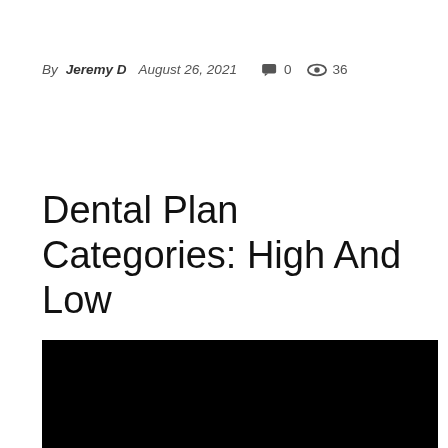By Jeremy D  August 26, 2021  💬 0  👁 36
Dental Plan Categories: High And Low
[Figure (photo): Black image placeholder, likely a video thumbnail or article image]